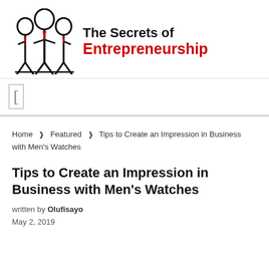[Figure (logo): The Secrets of Entrepreneurship logo with stick figure illustration and bold text]
[Figure (other): Advertisement banner with bracket/rectangle placeholder]
Home › Featured › Tips to Create an Impression in Business with Men's Watches
Tips to Create an Impression in Business with Men's Watches
written by Olufisayo
May 2, 2019